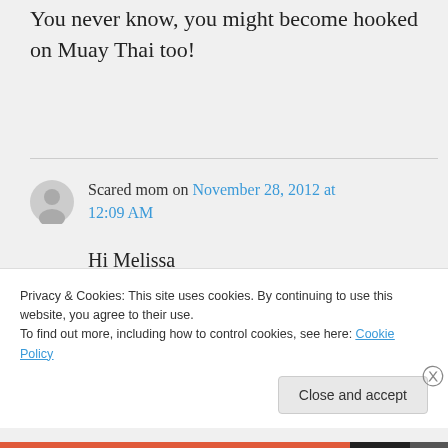You never know, you might become hooked on Muay Thai too!
Scared mom on November 28, 2012 at 12:09 AM

Hi Melissa

I have accepted this is what he wants to do but bow I might just
Privacy & Cookies: This site uses cookies. By continuing to use this website, you agree to their use.
To find out more, including how to control cookies, see here: Cookie Policy